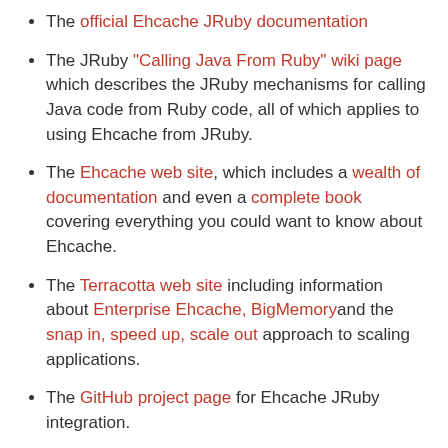The official Ehcache JRuby documentation
The JRuby "Calling Java From Ruby" wiki page which describes the JRuby mechanisms for calling Java code from Ruby code, all of which applies to using Ehcache from JRuby.
The Ehcache web site, which includes a wealth of documentation and even a complete book covering everything you could want to know about Ehcache.
The Terracotta web site including information about Enterprise Ehcache, BigMemoryand the snap in, speed up, scale out approach to scaling applications.
The GitHub project page for Ehcache JRuby integration.
During my development on jruby-ehcache, I heavily utilized Gregory T. Brown's excellent book Ruby Best Practices for tips and techniques. I highly recommend this book to anyone doing serious Ruby development.